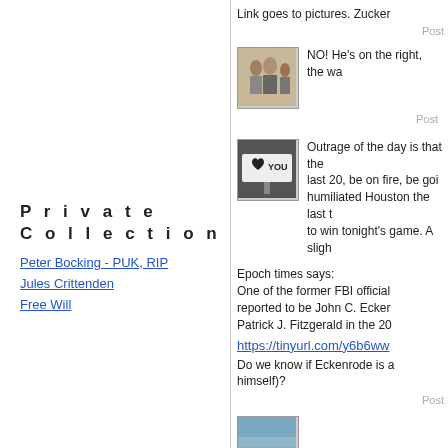Link goes to pictures. Zucker
Post
[Figure (photo): Small vintage photo of three people]
NO! He's on the right, the wa
Post
[Figure (photo): Black and white photo of a billboard with heart symbol and YOU text]
Outrage of the day is that the last 20, be on fire, be goi humiliated Houston the last t to win tonight's game. A sligh
Epoch times says:
One of the former FBI official reported to be John C. Ecker Patrick J. Fitzgerald in the 20
https://tinyurl.com/y6b6ww
Do we know if Eckenrode is a himself)?
Post
[Figure (photo): Small thumbnail of water/landscape]
P r i v a t e
C o l l e c t i o n
Peter Bocking - PUK, RIP
Jules Crittenden
Free Will